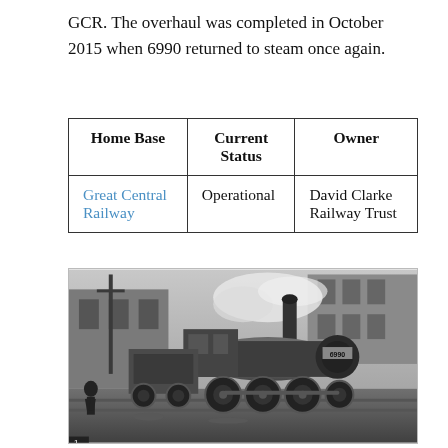GCR. The overhaul was completed in October 2015 when 6990 returned to steam once again.
| Home Base | Current Status | Owner |
| --- | --- | --- |
| Great Central Railway | Operational | David Clarke Railway Trust |
[Figure (photo): Black and white photograph of steam locomotive numbered 6990 at a station or rail yard, with steam visible and a person standing nearby.]